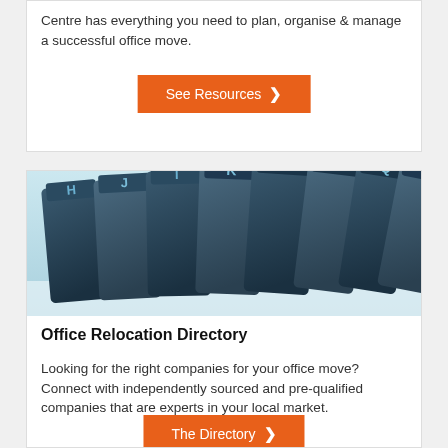Centre has everything you need to plan, organise & manage a successful office move.
See Resources >
[Figure (photo): Close-up photo of dark blue tabbed divider cards with alphabetical letters (H, J, I, K, M, O, Q, S) visible, on a light blue background.]
Office Relocation Directory
Looking for the right companies for your office move? Connect with independently sourced and pre-qualified companies that are experts in your local market.
The Directory >